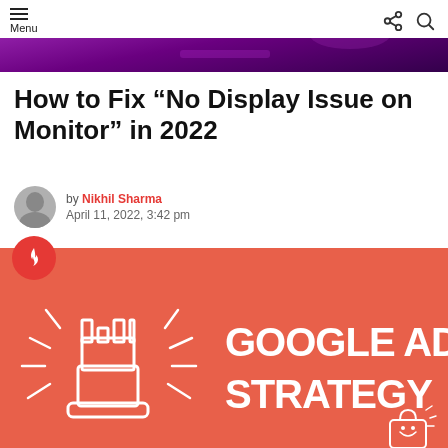Menu
[Figure (photo): Purple/dark hero banner image at the top]
How to Fix “No Display Issue on Monitor” in 2022
by Nikhil Sharma
April 11, 2022, 3:42 pm
[Figure (infographic): Red/orange banner with chess rook icon and text GOOGLE ADS STRATEGY, with fire/trending badge and shopping bag icon]